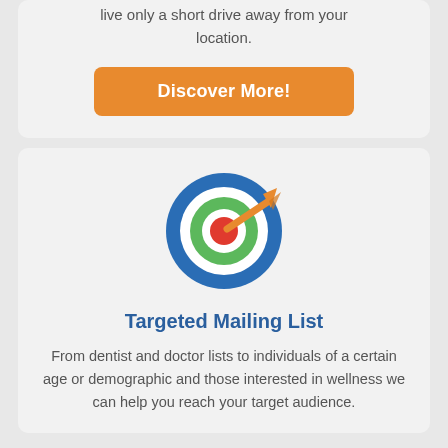live only a short drive away from your location.
[Figure (other): Orange rounded-rectangle button with white bold text 'Discover More!']
[Figure (illustration): Target/bullseye icon with blue outer ring, white ring, green ring, red center, and an orange arrow hitting the center]
Targeted Mailing List
From dentist and doctor lists to individuals of a certain age or demographic and those interested in wellness we can help you reach your target audience.